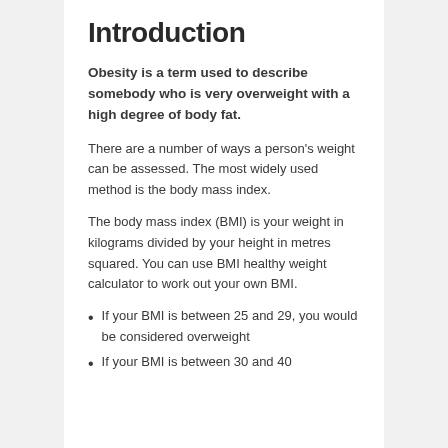Introduction
Obesity is a term used to describe somebody who is very overweight with a high degree of body fat.
There are a number of ways a person's weight can be assessed. The most widely used method is the body mass index.
The body mass index (BMI) is your weight in kilograms divided by your height in metres squared. You can use BMI healthy weight calculator to work out your own BMI.
If your BMI is between 25 and 29, you would be considered overweight
If your BMI is between 30 and 40